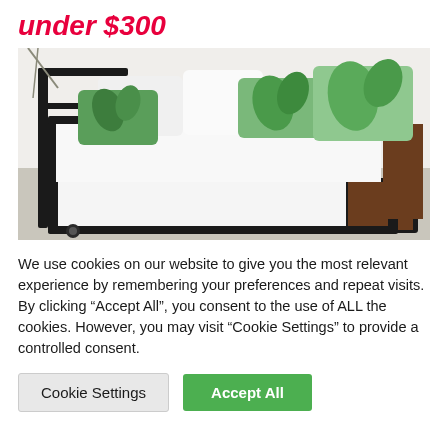under $300
[Figure (photo): A metal and wood daybed/trundle bed frame with white mattresses, decorated with green tropical leaf print pillows and white pillows, shown in a room setting.]
We use cookies on our website to give you the most relevant experience by remembering your preferences and repeat visits. By clicking “Accept All”, you consent to the use of ALL the cookies. However, you may visit “Cookie Settings” to provide a controlled consent.
Cookie Settings
Accept All